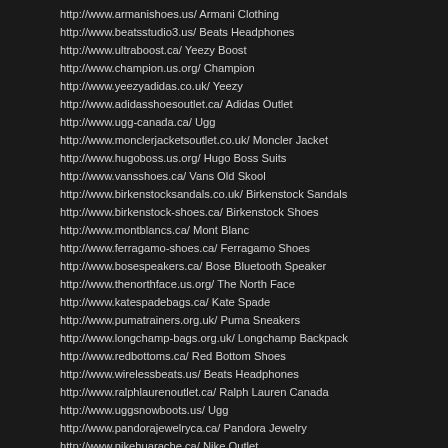http://www.armanishoes.us/ Armani Clothing
http://www.beatsstudio3.us/ Beats Headphones
http://www.ultraboost.ca/ Yeezy Boost
http://www.champion.us.org/ Champion
http://www.yeezyadidas.co.uk/ Yeezy
http://www.adidasshoesoutlet.ca/ Adidas Outlet
http://www.ugg-canada.ca/ Ugg
http://www.monclerjacketsoutlet.co.uk/ Moncler Jacket
http://www.hugoboss.us.org/ Hugo Boss Suits
http://www.vansshoes.ca/ Vans Old Skool
http://www.birkenstocksandals.co.uk/ Birkenstock Sandals
http://www.birkenstock-shoes.ca/ Birkenstock Shoes
http://www.montblancs.ca/ Mont Blanc
http://www.ferragamo-shoes.ca/ Ferragamo Shoes
http://www.bosespeakers.ca/ Bose Bluetooth Speaker
http://www.thenorthface.us.org/ The North Face
http://www.katespadebags.ca/ Kate Spade
http://www.pumatrainers.org.uk/ Puma Sneakers
http://www.longchamp-bags.org.uk/ Longchamp Backpack
http://www.redbottoms.ca/ Red Bottom Shoes
http://www.wirelessbeats.us/ Beats Headphones
http://www.ralphlaurenoutlet.ca/ Ralph Lauren Canada
http://www.uggsnowboots.us/ Ugg
http://www.pandorajewelryca.ca/ Pandora Jewelry
http://www.nikehuarache.ca/ Nike Outlet
http://www.goldengoose-sneakers.ca/ Golden Goose Sale
http://www.reebokshoes.ca/ Reebok Classic
http://www.juicycouturetracksuit.us.com/ Juicy Couture
http://www.fitflop.us.org/ Fit Flops
http://www.asicsshoes.ca/ Asics Running Shoes